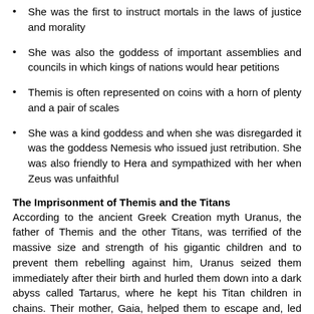She was the first to instruct mortals in the laws of justice and morality
She was also the goddess of important assemblies and councils in which kings of nations would hear petitions
Themis is often represented on coins with a horn of plenty and a pair of scales
She was a kind goddess and when she was disregarded it was the goddess Nemesis who issued just retribution. She was also friendly to Hera and sympathized with her when Zeus was unfaithful
The Imprisonment of Themis and the Titans
According to the ancient Greek Creation myth Uranus, the father of Themis and the other Titans, was terrified of the massive size and strength of his gigantic children and to prevent them rebelling against him, Uranus seized them immediately after their birth and hurled them down into a dark abyss called Tartarus, where he kept his Titan children in chains. Their mother, Gaia, helped them to escape and, led by Cronus, they overthrew their father and took power on the Titans who Cronus now ruled, to the chief of the